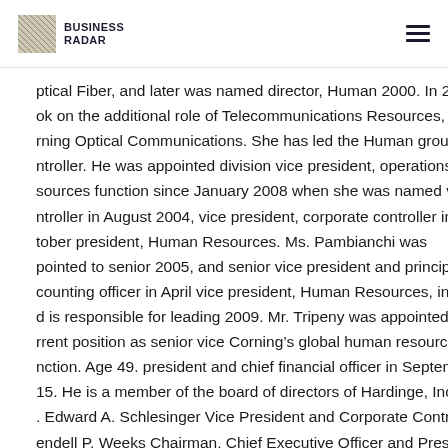BUSINESS RADAR
ptical Fiber, and later was named director, Human 2000. In 2003, h
ok on the additional role of Telecommunications Resources,
rning Optical Communications. She has led the Human group
ntroller. He was appointed division vice president, operations
sources function since January 2008 when she was named vice
ntroller in August 2004, vice president, corporate controller in
tober president, Human Resources. Ms. Pambianchi was
pointed to senior 2005, and senior vice president and principal
counting officer in April vice president, Human Resources, in 2010
d is responsible for leading 2009. Mr. Tripeny was appointed to hi
rrent position as senior vice Corning’s global human resource
nction. Age 49. president and chief financial officer in September
15. He is a member of the board of directors of Hardinge, Inc. Age
. Edward A. Schlesinger Vice President and Corporate Controller
endell P. Weeks Chairman, Chief Executive Officer and President M
nlesinger joined Corning in 2013 as senior vice president and chie
f financial officer of Corning Optical Communications, part of the